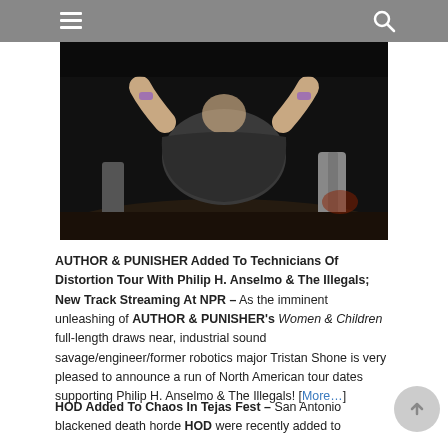Navigation header with hamburger menu and search icon
[Figure (photo): Concert/performance photo showing a crowd member bent over or crouching on stage floor with others around them, low-light venue setting]
AUTHOR & PUNISHER Added To Technicians Of Distortion Tour With Philip H. Anselmo & The Illegals; New Track Streaming At NPR – As the imminent unleashing of AUTHOR & PUNISHER’s Women & Children full-length draws near, industrial sound savage/engineer/former robotics major Tristan Shone is very pleased to announce a run of North American tour dates supporting Philip H. Anselmo & The Illegals! [More…]
HOD Added To Chaos In Tejas Fest – San Antonio blackened death horde HOD were recently added to